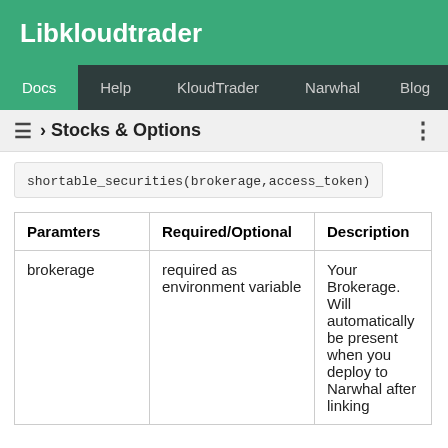Libkloudtrader
Docs | Help | KloudTrader | Narwhal | Blog
› Stocks & Options
| Paramters | Required/Optional | Description |
| --- | --- | --- |
| brokerage | required as environment variable | Your Brokerage. Will automatically be present when you deploy to Narwhal after linking |